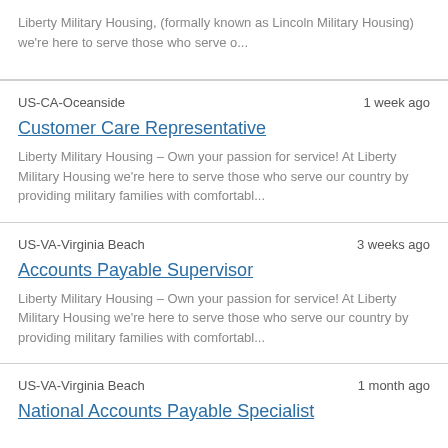Liberty Military Housing, (formally known as Lincoln Military Housing) we're here to serve those who serve o...
US-CA-Oceanside    1 week ago
Customer Care Representative
Liberty Military Housing – Own your passion for service!   At Liberty Military Housing we're here to serve those who serve our country by providing military families with comfortabl...
US-VA-Virginia Beach    3 weeks ago
Accounts Payable Supervisor
Liberty Military Housing – Own your passion for service!   At Liberty Military Housing we're here to serve those who serve our country by providing military families with comfortabl...
US-VA-Virginia Beach    1 month ago
National Accounts Payable Specialist